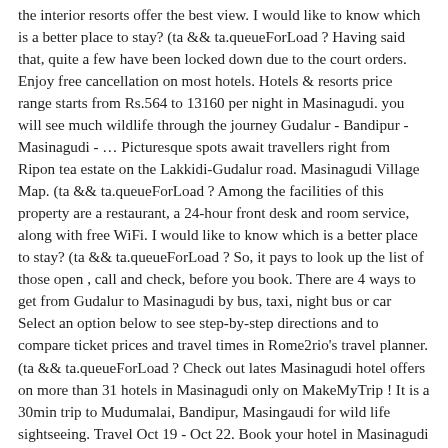the interior resorts offer the best view. I would like to know which is a better place to stay? (ta && ta.queueForLoad ? Having said that, quite a few have been locked down due to the court orders. Enjoy free cancellation on most hotels. Hotels & resorts price range starts from Rs.564 to 13160 per night in Masinagudi. you will see much wildlife through the journey Gudalur - Bandipur - Masinagudi - … Picturesque spots await travellers right from Ripon tea estate on the Lakkidi-Gudalur road. Masinagudi Village Map. (ta && ta.queueForLoad ? Among the facilities of this property are a restaurant, a 24-hour front desk and room service, along with free WiFi. I would like to know which is a better place to stay? (ta && ta.queueForLoad ? So, it pays to look up the list of those open , call and check, before you book. There are 4 ways to get from Gudalur to Masinagudi by bus, taxi, night bus or car Select an option below to see step-by-step directions and to compare ticket prices and travel times in Rome2rio's travel planner. (ta && ta.queueForLoad ? Check out lates Masinagudi hotel offers on more than 31 hotels in Masinagudi only on MakeMyTrip ! It is a 30min trip to Mudumalai, Bandipur, Masingaudi for wild life sightseeing. Travel Oct 19 - Oct 22. Book your hotel in Masinagudi and pay later with Expedia. Public Bus from Ooty to Masinagudi or Bandipur ! We begin our trip ex Bangalore, where we will pick you up from the airport by 9:30 am, and head straight out of the city towards Mysore. History and Detailed Information guide of Masinagudi , People and near by Tourist Places in Masinagudi and tourist attractions in Masinagudi